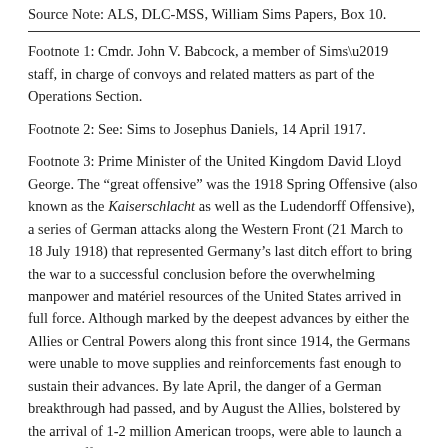Source Note: ALS, DLC-MSS, William Sims Papers, Box 10.
Footnote 1: Cmdr. John V. Babcock, a member of Sims’ staff, in charge of convoys and related matters as part of the Operations Section.
Footnote 2: See: Sims to Josephus Daniels, 14 April 1917.
Footnote 3: Prime Minister of the United Kingdom David Lloyd George. The “great offensive” was the 1918 Spring Offensive (also known as the Kaiserschlacht as well as the Ludendorff Offensive), a series of German attacks along the Western Front (21 March to 18 July 1918) that represented Germany’s last ditch effort to bring the war to a successful conclusion before the overwhelming manpower and matériel resources of the United States arrived in full force. Although marked by the deepest advances by either the Allies or Central Powers along this front since 1914, the Germans were unable to move supplies and reinforcements fast enough to sustain their advances. By late April, the danger of a German breakthrough had passed, and by August the Allies, bolstered by the arrival of 1-2 million American troops, were able to launch a counter-offensive that would ultimately lead to German surrender in November. Holger H. Herwig, The First World War: Germany and Austria-Hungary 1914-1918 (New York: ABC Black, 2014), 294-423.